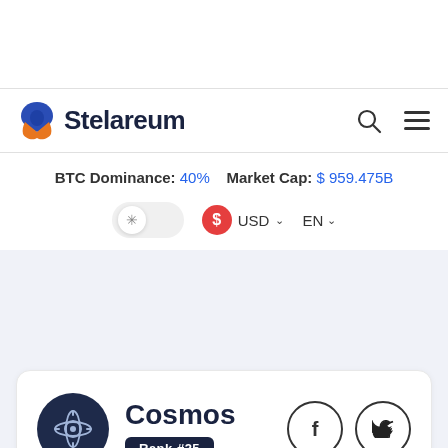Stelareum
BTC Dominance: 40%  Market Cap: $ 959.475B
USD  EN
Cosmos
Rank #25